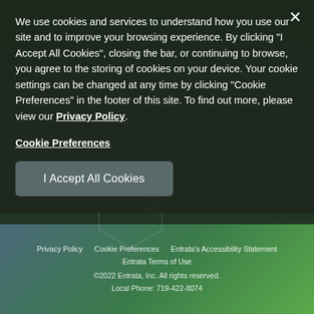We use cookies and services to understand how you use our site and to improve your browsing experience. By clicking "I Accept All Cookies", closing the bar, or continuing to browse, you agree to the storing of cookies on your device. Your cookie settings can be changed at any time by clicking "Cookie Preferences" in the footer of this site. To find out more, please view our Privacy Policy
Cookie Preferences
I Accept All Cookies
Privacy Policy   Cookie Preferences   Entrata's Accessibility Statement   Entrata Terms of Use
©2022 Entrata, Inc. All rights reserved.
Local Phone: 719-422-8074